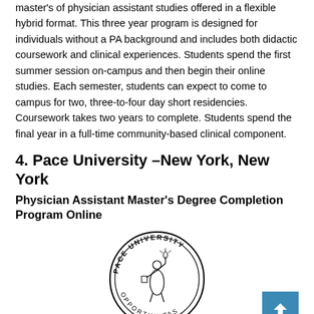master's of physician assistant studies offered in a flexible hybrid format. This three year program is designed for individuals without a PA background and includes both didactic coursework and clinical experiences. Students spend the first summer session on-campus and then begin their online studies. Each semester, students can expect to come to campus for two, three-to-four day short residencies. Coursework takes two years to complete. Students spend the final year in a full-time community-based clinical component.
4. Pace University –New York, New York
Physician Assistant Master's Degree Completion Program Online
[Figure (logo): Pace University circular seal/logo with Latin motto 'Opportunitas' and a figure holding a torch]